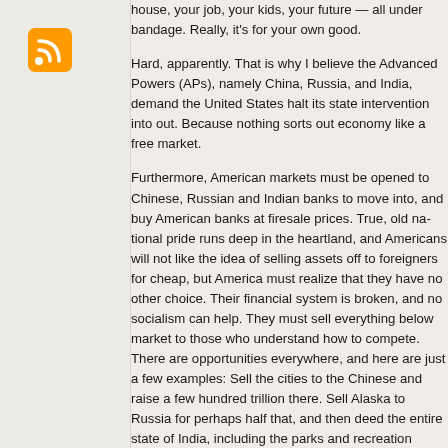[Figure (logo): RSS feed orange icon with white radio wave symbol]
house, your job, your kids, your future — all under bandage. Really, it's for your own good.

Hard, apparently. That is why I believe the Advanced Powers (APs), namely China, Russia, and India, demand the United States halt its state intervention into the economy, and let it sort out. Because nothing sorts out economic problems like a free market.

Furthermore, American markets must be opened to Chinese, Russian and Indian banks to move into, and buy American banks at firesale prices. True, old national pride runs deep in the heartland, and Americans will not like the idea of selling assets off to foreigners for cheap, but America must realize that they have no other choice. Their financial system is broken, and no socialism can help. They must sell everything below market to those who understand how to compete. There are opportunities everywhere, and here are just a few examples: Sell the cities to the Chinese and raise a few hundred trillion there. Sell Alaska to Russia for perhaps half that, and then deed the entire state of India, including the parks and recreation areas. Charge a toll in return for allowing India to bury its toxic waste under ground. If America wants to survive in the new economy, it must undergo a period of pain. Since each American owes money on a personal basis, it only makes sense that toxic waste be buried in American territory.